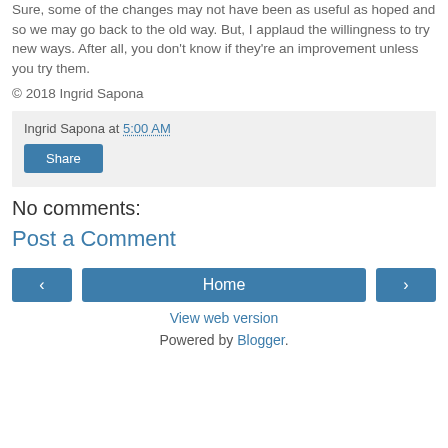Sure, some of the changes may not have been as useful as hoped and so we may go back to the old way. But, I applaud the willingness to try new ways. After all, you don't know if they're an improvement unless you try them.
© 2018 Ingrid Sapona
Ingrid Sapona at 5:00 AM
Share
No comments:
Post a Comment
‹
Home
›
View web version
Powered by Blogger.